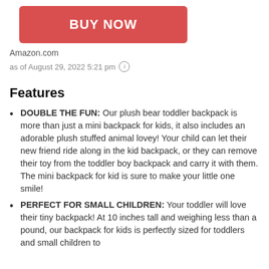[Figure (other): Red 'BUY NOW' button]
Amazon.com
as of August 29, 2022 5:21 pm ⓘ
Features
DOUBLE THE FUN: Our plush bear toddler backpack is more than just a mini backpack for kids, it also includes an adorable plush stuffed animal lovey! Your child can let their new friend ride along in the kid backpack, or they can remove their toy from the toddler boy backpack and carry it with them. The mini backpack for kid is sure to make your little one smile!
PERFECT FOR SMALL CHILDREN: Your toddler will love their tiny backpack! At 10 inches tall and weighing less than a pound, our backpack for kids is perfectly sized for toddlers and small children to